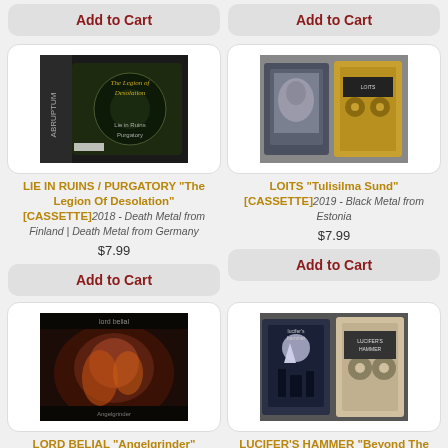Add to Cart (top left button)
Add to Cart (top right button)
[Figure (photo): Cassette tape product image for LIE IN RUINS / PURGATORY 'The Legion Of Desolation']
LIE IN RUINS / PURGATORY "The Legion Of Desolation" [CASSETTE] 2018 - Death Metal from Finland | Death Metal from Germany
$7.99
Add to Cart
[Figure (photo): Cassette tape product image for LOITS 'Tulisilma Sund']
LOITS "Tulisilma Sund" [CASSETTE] 2019 - Black Metal from Estonia
$7.99
Add to Cart
[Figure (photo): Cassette tape product image for LORD BELIAL 'Angelgrinder']
LORD BELIAL "Angelgrinder" [CASSETTE] 2021 - Black Metal from Sweden
[Figure (photo): Cassette tape product image for LUCIFER'S HAMMER 'Beyond The Omens']
LUCIFER'S HAMMER "Beyond The Omens" [CASSETTE] 2016 - Heavy Metal from Chile